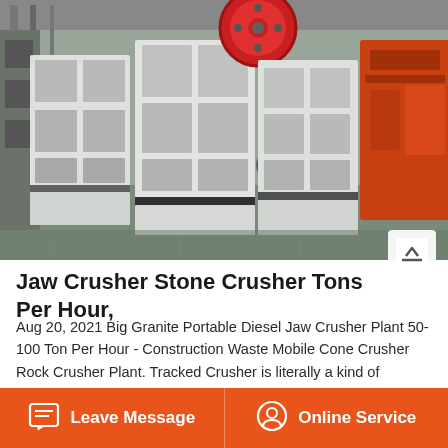[Figure (photo): Industrial jaw crusher machines in a factory setting. Large white rectangular jaw crusher units are lined up in a manufacturing facility with grey concrete floors and red accent machinery visible in the background.]
Jaw Crusher Stone Crusher Tons Per Hour,
Aug 20, 2021 Big Granite Portable Diesel Jaw Crusher Plant 50- 100 Ton Per Hour - Construction Waste Mobile Cone Crusher Rock Crusher Plant. Tracked Crusher is literally a kind of portable rock crusher or mobile stone crusher.The throughput is respectable at 5-20 tons per hour, and the crusher will take up to 9" feed material. …
Leave Message | Online Service